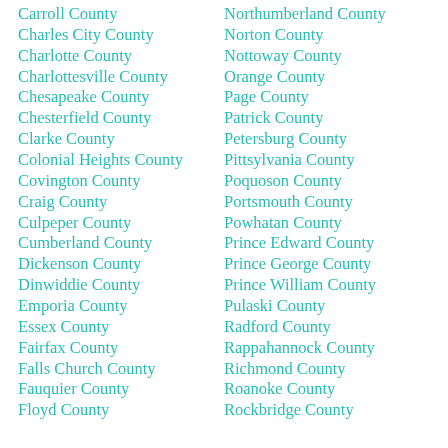Carroll County
Charles City County
Charlotte County
Charlottesville County
Chesapeake County
Chesterfield County
Clarke County
Colonial Heights County
Covington County
Craig County
Culpeper County
Cumberland County
Dickenson County
Dinwiddie County
Emporia County
Essex County
Fairfax County
Falls Church County
Fauquier County
Floyd County
Northumberland County
Norton County
Nottoway County
Orange County
Page County
Patrick County
Petersburg County
Pittsylvania County
Poquoson County
Portsmouth County
Powhatan County
Prince Edward County
Prince George County
Prince William County
Pulaski County
Radford County
Rappahannock County
Richmond County
Roanoke County
Rockbridge County